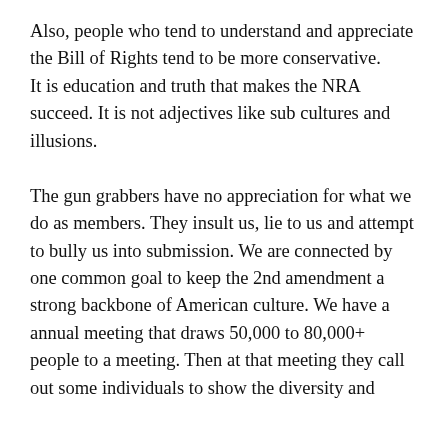Also, people who tend to understand and appreciate the Bill of Rights tend to be more conservative.
It is education and truth that makes the NRA succeed. It is not adjectives like sub cultures and illusions.
The gun grabbers have no appreciation for what we do as members. They insult us, lie to us and attempt to bully us into submission. We are connected by one common goal to keep the 2nd amendment a strong backbone of American culture. We have a annual meeting that draws 50,000 to 80,000+ people to a meeting. Then at that meeting they call out some individuals to show the diversity and